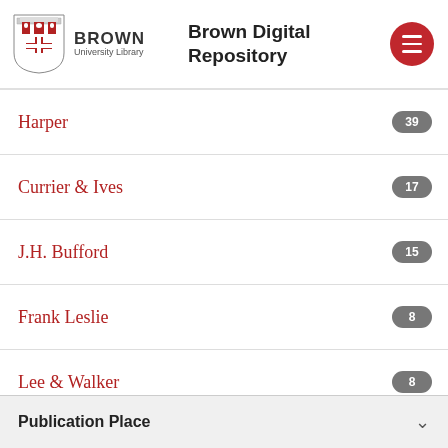Brown University Library — Brown Digital Repository
Harper 39
Currier & Ives 17
J.H. Bufford 15
Frank Leslie 8
Lee & Walker 8
Show More...
Publication Place